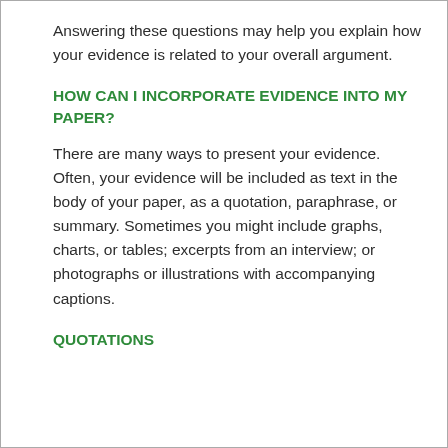Answering these questions may help you explain how your evidence is related to your overall argument.
HOW CAN I INCORPORATE EVIDENCE INTO MY PAPER?
There are many ways to present your evidence. Often, your evidence will be included as text in the body of your paper, as a quotation, paraphrase, or summary. Sometimes you might include graphs, charts, or tables; excerpts from an interview; or photographs or illustrations with accompanying captions.
QUOTATIONS